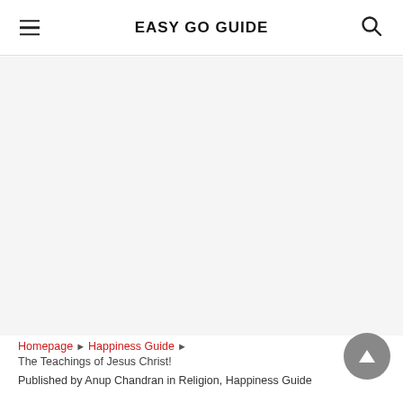EASY GO GUIDE
[Figure (other): Advertisement / blank area]
Homepage ▶ Happiness Guide ▶ The Teachings of Jesus Christ!
Published by Anup Chandran in Religion, Happiness Guide